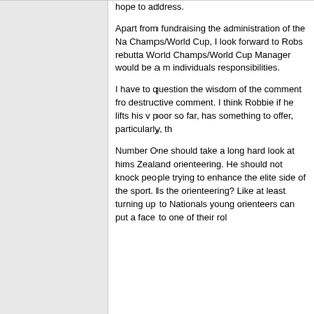hope to address. Apart from fundraising the administration of the Na Champs/World Cup, I look forward to Robs rebutta World Champs/World Cup Manager would be a m individuals responsibilities. I have to question the wisdom of the comment fro destructive comment. I think Robbie if he lifts his v poor so far, has something to offer, particularly, th Number One should take a long hard look at hims Zealand orienteering. He should not knock people trying to enhance the elite side of the sport. Is the orienteering? Like at least turning up to Nationals young orienteers can put a face to one of their rol
HeadHoncho
Posted: 6 February 2001, 3:28 PM
Fraser

I think you need to close this thread too.

I cant resist adding a final piece. Jamie, u said u s

Why are you in it???

Not many people belong to something for no bene apply here.

So if you're getting no benefit from the squad, why